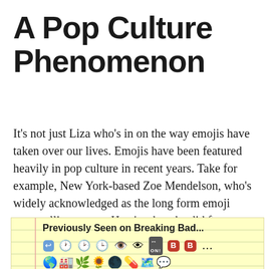A Pop Culture Phenomenon
It's not just Liza who's in on the way emojis have taken over our lives. Emojis have been featured heavily in pop culture in recent years. Take for example, New York-based Zoe Mendelson, who's widely acknowledged as the long form emoji story-telling expert. Here's what she did for Breaking Bad's mid-season premiere episode 'Blood Money':
[Figure (screenshot): A notepad-style image with yellow lined background showing text 'Previously Seen on Breaking Bad...' followed by a row of emoji icons including arrows, clocks, eyes, arrows, and letter B boxes in red and blue, with more emojis below.]